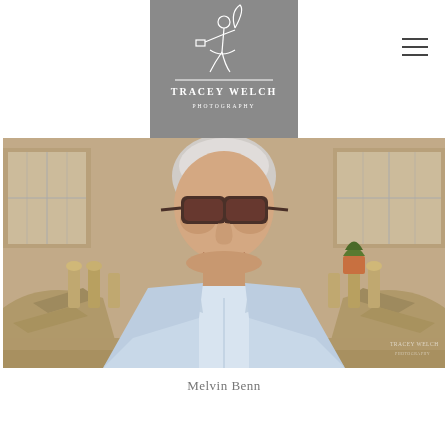[Figure (logo): Tracey Welch Photography logo — grey square background with white line drawing of a fairy/dancer figure holding a pen/quill, text 'TRACEY WELCH PHOTOGRAPHY' beneath]
[Figure (photo): Outdoor portrait photograph of Melvin Benn, an older man with white/grey hair wearing sunglasses and a light blue shirt, standing in front of a grand stone building with ornate staircases. Tracey Welch Photography watermark in bottom right.]
Melvin Benn